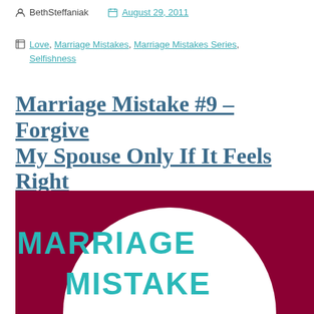BethSteffaniak   August 29, 2011
Love, Marriage Mistakes, Marriage Mistakes Series, Selfishness
Marriage Mistake #9 – Forgive My Spouse Only If It Feels Right
[Figure (illustration): Graphic with dark red (maroon) background and a large white circle. Text in teal reads 'MARRIAGE MISTAKE' with '#9' partially visible at the bottom.]